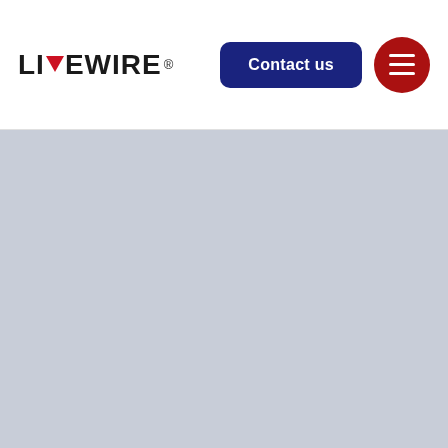LIVEWIRE® — Contact us navigation bar with menu button
[Figure (other): Light blue-grey content area below the navigation header, appears to be a placeholder or loading area for website content]